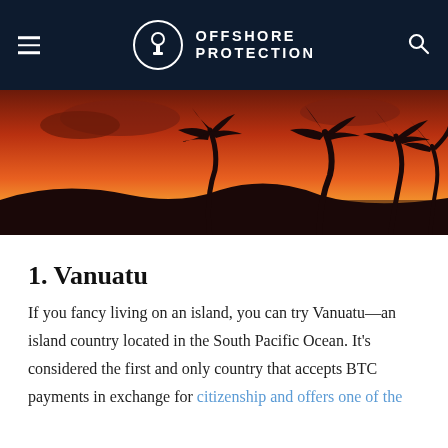OFFSHORE PROTECTION
[Figure (photo): Tropical sunset silhouette with palm trees and orange-red sky over the South Pacific]
1. Vanuatu
If you fancy living on an island, you can try Vanuatu—an island country located in the South Pacific Ocean. It's considered the first and only country that accepts BTC payments in exchange for citizenship and offers one of the fastest citizenships in the world.